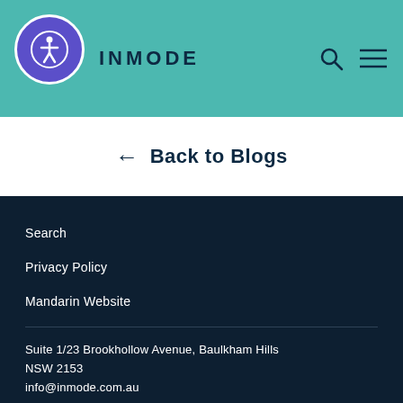INMODE
← Back to Blogs
Search
Privacy Policy
Mandarin Website
Suite 1/23 Brookhollow Avenue, Baulkham Hills NSW 2153
info@inmode.com.au
P: +61 (2) 7209 5678